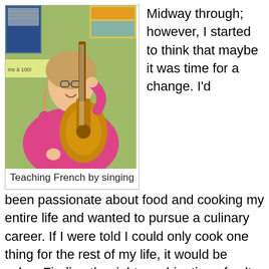[Figure (photo): Woman in pink top playing an acoustic guitar in a classroom setting with colorful educational displays on the wall behind her.]
Teaching French by singing
Midway through; however, I started to think that maybe it was time for a change. I'd been passionate about food and cooking my entire life and wanted to pursue a culinary career. If I were told I could only cook one thing for the rest of my life, it would be salsa. Finding the right combination of salty, sweet, sour, and spicy makes me feel like an alchemist. So, I started making plans to leave teaching and start bottling my favorite Mexican sauces. I did market research, attended a natural food trade show, and played mad scientist in the kitchen with piles of tomatoes and chiles. But nothing came together. Everything seemed hard, every step laborious. What should have been exciting and